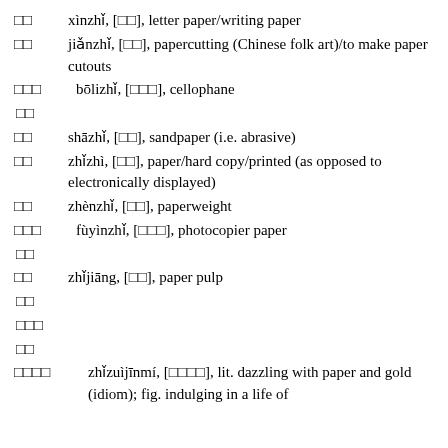□□   xìnzhǐ, [□□], letter paper/writing paper
□□   jiǎnzhǐ, [□□], papercutting (Chinese folk art)/to make paper cutouts
□□□   bōlizhǐ, [□□□], cellophane
□□
□□   shāzhǐ, [□□], sandpaper (i.e. abrasive)
□□   zhǐzhì, [□□], paper/hard copy/printed (as opposed to electronically displayed)
□□   zhènzhǐ, [□□], paperweight
□□□   fùyìnzhǐ, [□□□], photocopier paper
□□
□□   zhǐjiāng, [□□], paper pulp
□□
□□□
□□
□□□□   zhǐzuìjīnmí, [□□□□], lit. dazzling with paper and gold (idiom); fig. indulging in a life of